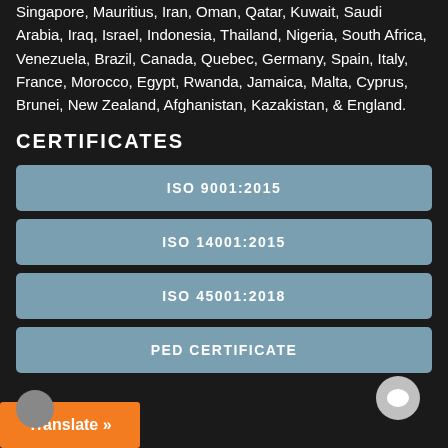Singapore, Mauritius, Iran, Oman, Qatar, Kuwait, Saudi Arabia, Iraq, Israel, Indonesia, Thailand, Nigeria, South Africa, Venezuela, Brazil, Canada, Quebec, Germany, Spain, Italy, France, Morocco, Egypt, Rwanda, Jamaica, Malta, Cyprus, Brunei, New Zealand, Afghanistan, Kazakistan, & England.
CERTIFICATES
ISO 9001:2015
ISO 14001:2015
ISO 45001:2018
PED CERTIFICATE
Translate »